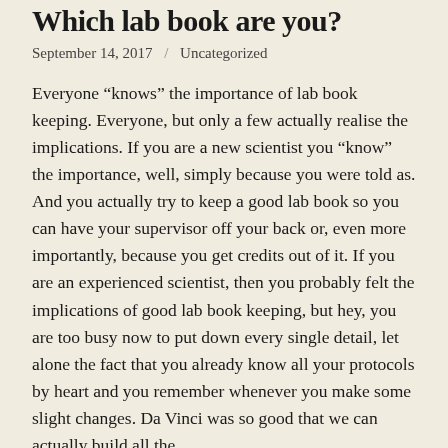Which lab book are you?
September 14, 2017 / Uncategorized
Everyone “knows” the importance of lab book keeping. Everyone, but only a few actually realise the implications. If you are a new scientist you “know” the importance, well, simply because you were told as. And you actually try to keep a good lab book so you can have your supervisor off your back or, even more importantly, because you get credits out of it. If you are an experienced scientist, then you probably felt the implications of good lab book keeping, but hey, you are too busy now to put down every single detail, let alone the fact that you already know all your protocols by heart and you remember whenever you make some slight changes. Da Vinci was so good that we can actually build all the